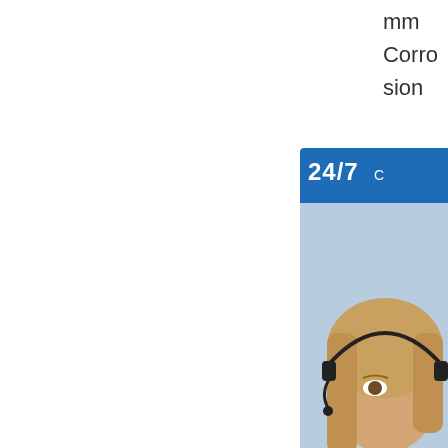mm
Corrosion
[Figure (infographic): Customer support infographic showing a 24/7 online live chat banner with a woman wearing a headset, overlaid with three blue icon squares: a customer service agent with headset icon, a phone/call icon, and a Skype icon. Banner text reads 'PROVIDE' and 'Empowering Customers' with 'online live' button.]
c
h
a
l
k
b